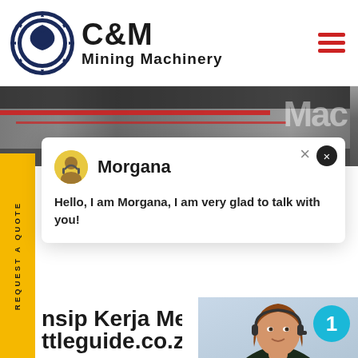[Figure (logo): C&M Mining Machinery logo with eagle in gear circle and company name]
[Figure (photo): Industrial machinery equipment hero banner image]
[Figure (screenshot): Chat popup with avatar of Morgana agent saying Hello, I am Morgana, I am very glad to talk with you!]
nsip Kerja Mesin Jaw C
ttleguide.co.za
sip Kerja Crusher Conveyor. Mo
a crusher pada prinsipnya crus
manjadi 2 prinsip kerja jaw crusher
crusherraymons millball jaw crushe
jatuh dari belt conveyor cgm crush
[Figure (photo): Female customer service agent with headset, Click to Chat button, and Enquiry bar]